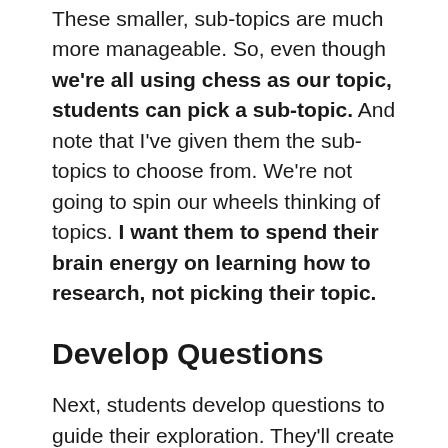These smaller, sub-topics are much more manageable. So, even though we're all using chess as our topic, students can pick a sub-topic. And note that I've given them the sub-topics to choose from. We're not going to spin our wheels thinking of topics. I want them to spend their brain energy on learning how to research, not picking their topic.
Develop Questions
Next, students develop questions to guide their exploration. They'll create sophisticated questions by combining a question word (who, what, where, when, why, how) with one of the aspects of the topic they chose.